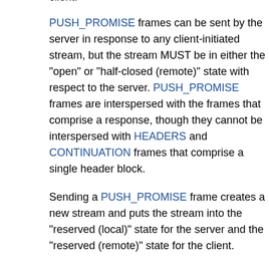client.
PUSH_PROMISE frames can be sent by the server in response to any client-initiated stream, but the stream MUST be in either the "open" or "half-closed (remote)" state with respect to the server. PUSH_PROMISE frames are interspersed with the frames that comprise a response, though they cannot be interspersed with HEADERS and CONTINUATION frames that comprise a single header block.
Sending a PUSH_PROMISE frame creates a new stream and puts the stream into the "reserved (local)" state for the server and the "reserved (remote)" state for the client.
8.2.2. Push Responses
After sending the PUSH_PROMISE frame, the server can begin delivering the pushed response as a response...